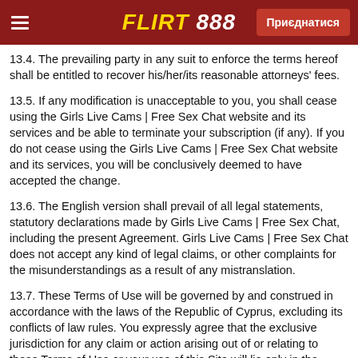FLIRT 888 — Приєднатися
13.4. The prevailing party in any suit to enforce the terms hereof shall be entitled to recover his/her/its reasonable attorneys' fees.
13.5. If any modification is unacceptable to you, you shall cease using the Girls Live Cams | Free Sex Chat website and its services and be able to terminate your subscription (if any). If you do not cease using the Girls Live Cams | Free Sex Chat website and its services, you will be conclusively deemed to have accepted the change.
13.6. The English version shall prevail of all legal statements, statutory declarations made by Girls Live Cams | Free Sex Chat, including the present Agreement. Girls Live Cams | Free Sex Chat does not accept any kind of legal claims, or other complaints for the misunderstandings as a result of any mistranslation.
13.7. These Terms of Use will be governed by and construed in accordance with the laws of the Republic of Cyprus, excluding its conflicts of law rules. You expressly agree that the exclusive jurisdiction for any claim or action arising out of or relating to these Terms of Use or your use of this Site will lie only in the courts of the Republic of Cyprus, and you further agree to and submit to the exercise of personal jurisdiction of such courts for the purpose of litigating any such claim or action.
13.8. Any disputes arising between Girls Live Cams | Free Sex Chat and the Subscribers will be settled amicably and only when this solution is not sufficient, the competent jurisdiction for the direct...